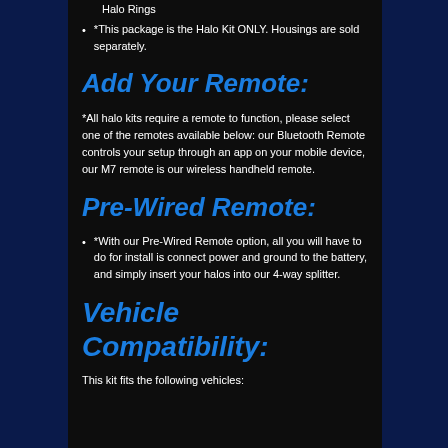Halo Rings
*This package is the Halo Kit ONLY. Housings are sold separately.
Add Your Remote:
*All halo kits require a remote to function, please select one of the remotes available below: our Bluetooth Remote controls your setup through an app on your mobile device, our M7 remote is our wireless handheld remote.
Pre-Wired Remote:
*With our Pre-Wired Remote option, all you will have to do for install is connect power and ground to the battery, and simply insert your halos into our 4-way splitter.
Vehicle Compatibility:
This kit fits the following vehicles: